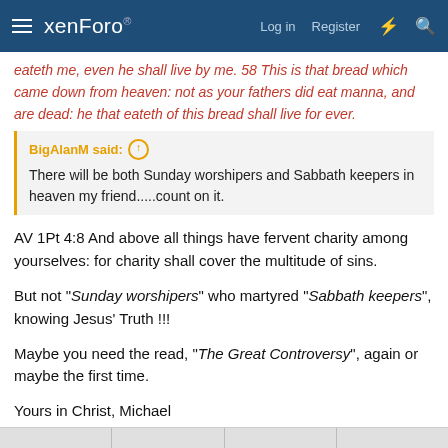xenForo — Log in  Register
eateth me, even he shall live by me. 58 This is that bread which came down from heaven: not as your fathers did eat manna, and are dead: he that eateth of this bread shall live for ever.
BigAlanM said: ↑  There will be both Sunday worshipers and Sabbath keepers in heaven my friend.....count on it.
AV 1Pt 4:8 And above all things have fervent charity among yourselves: for charity shall cover the multitude of sins.
But not "Sunday worshipers" who martyred "Sabbath keepers", knowing Jesus' Truth !!!
Maybe you need the read, "The Great Controversy", again or maybe the first time.
Yours in Christ, Michael